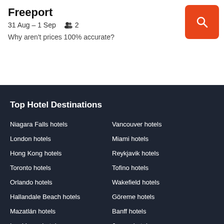Freeport
31 Aug – 1 Sep   👥 2
Why aren't prices 100% accurate?
Top Hotel Destinations
Niagara Falls hotels
Vancouver hotels
London hotels
Miami hotels
Hong Kong hotels
Reykjavik hotels
Toronto hotels
Tofino hotels
Orlando hotels
Wakefield hotels
Hallandale Beach hotels
Göreme hotels
Mazatlán hotels
Banff hotels
Las Vegas hotels
Jasper hotels
Seoul hotels
Calgary hotels
Mesa hotels
Edmonton hotels